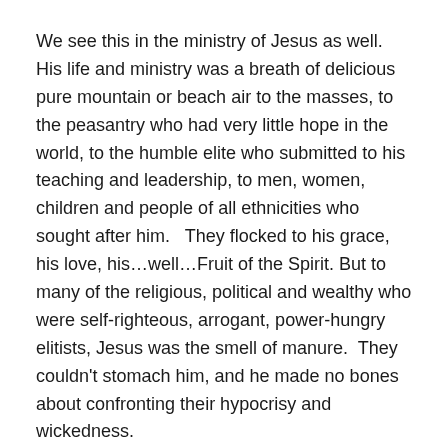We see this in the ministry of Jesus as well.  His life and ministry was a breath of delicious pure mountain or beach air to the masses, to the peasantry who had very little hope in the world, to the humble elite who submitted to his teaching and leadership, to men, women, children and people of all ethnicities who sought after him.   They flocked to his grace, his love, his…well…Fruit of the Spirit. But to many of the religious, political and wealthy who were self-righteous, arrogant, power-hungry elitists, Jesus was the smell of manure.  They couldn't stomach him, and he made no bones about confronting their hypocrisy and wickedness.
Jesus continues fulfilling this sweet-smelling prophecy to this day in the life and ministry of the church, as we, the church, walk in step with the Spirit, growing the fruit of the